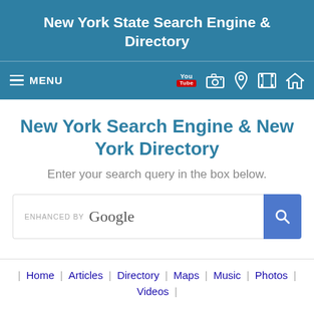New York State Search Engine & Directory
[Figure (screenshot): Navigation bar with hamburger menu icon and MENU label on left, and icons (YouTube, camera, location pin, film strip, home) on right, all on blue background]
New York Search Engine & New York Directory
Enter your search query in the box below.
[Figure (screenshot): Google-enhanced search box with 'ENHANCED BY Google' label and blue search button with magnifying glass icon]
| Home | Articles | Directory | Maps | Music | Photos |
Videos |